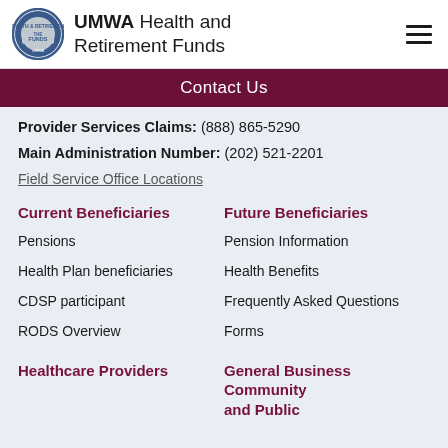UMWA Health and Retirement Funds
Contact Us
Provider Services Claims: (888) 865-5290
Main Administration Number: (202) 521-2201
Field Service Office Locations
Current Beneficiaries
Pensions
Health Plan beneficiaries
CDSP participant
RODS Overview
Future Beneficiaries
Pension Information
Health Benefits
Frequently Asked Questions
Forms
Healthcare Providers
General Business Community and Public